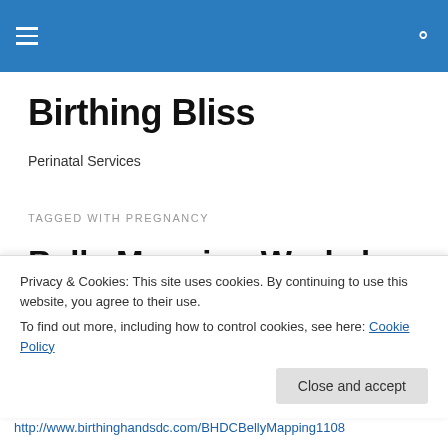Birthing Bliss — site navigation header bar with hamburger menu and search icon
Birthing Bliss
Perinatal Services
TAGGED WITH PREGNANCY
Belly Mapping Workshop with Gail Tullv. CPM 11/8/12
Privacy & Cookies: This site uses cookies. By continuing to use this website, you agree to their use.
To find out more, including how to control cookies, see here: Cookie Policy
http://www.birthinghandsdc.com/BHDCBellyMapping1108